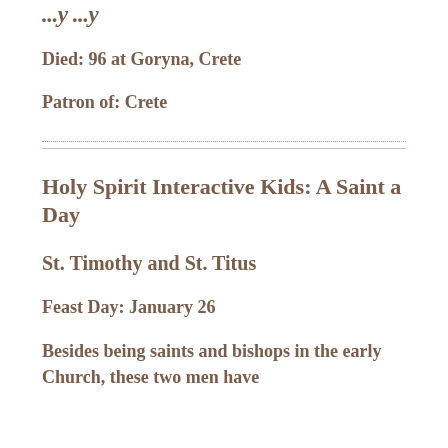...y ...y
Died: 96 at Goryna, Crete
Patron of: Crete
Holy Spirit Interactive Kids: A Saint a Day
St. Timothy and St. Titus
Feast Day: January 26
Besides being saints and bishops in the early Church, these two men have